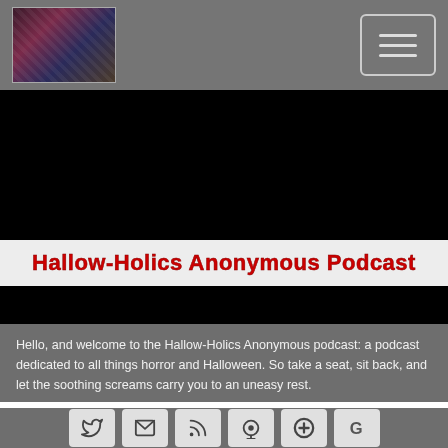Hallow-Holics Anonymous Podcast navigation bar with logo and hamburger menu
[Figure (screenshot): Black hero/video area with centered title overlay reading 'Hallow-Holics Anonymous Podcast' in bold red text on white background bar]
Hallow-Holics Anonymous Podcast
Hello, and welcome to the Hallow-Holics Anonymous podcast: a podcast dedicated to all things horror and Halloween. So take a seat, sit back, and let the soothing screams carry you to an uneasy rest.
[Figure (infographic): Row of social media icon buttons: Twitter, Email, RSS feed, Podcast/Apple Podcasts, Plus/Stitcher, Google Podcasts]